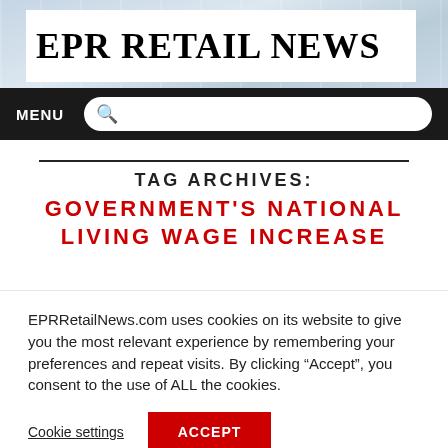[Figure (photo): Background header photo showing a modern retail/office interior with glass and white surfaces]
EPR RETAIL NEWS
MENU
TAG ARCHIVES: GOVERNMENT'S NATIONAL LIVING WAGE INCREASE
EPRRetailNews.com uses cookies on its website to give you the most relevant experience by remembering your preferences and repeat visits. By clicking “Accept”, you consent to the use of ALL the cookies.
Cookie settings
ACCEPT